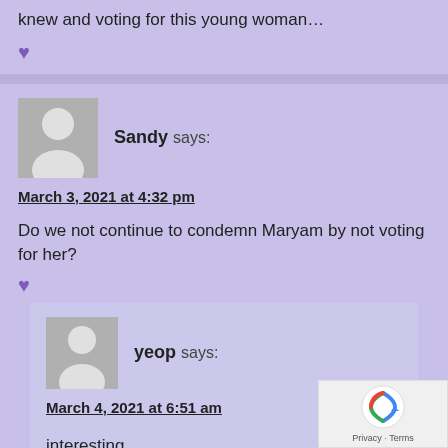knew and voting for this young woman…
♥
Sandy says:
March 3, 2021 at 4:32 pm
Do we not continue to condemn Maryam by not voting for her?
♥
yeop says:
March 4, 2021 at 6:51 am
interesting